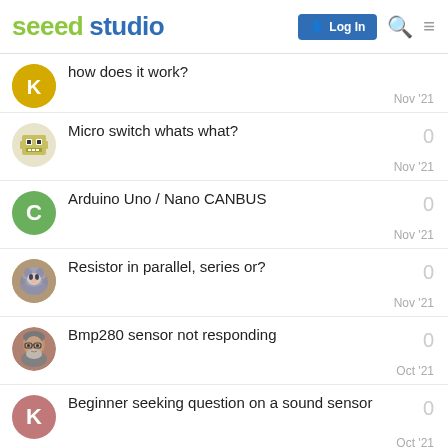Seeed Studio | Log In
how does it work? — Nov '21
Micro switch whats what? — 0 — Nov '21
Arduino Uno / Nano CANBUS — 0 — Nov '21
Resistor in parallel, series or? — 0 — Nov '21
Bmp280 sensor not responding — 0 — Oct '21
Beginner seeking question on a sound sensor — 0 — Oct '21